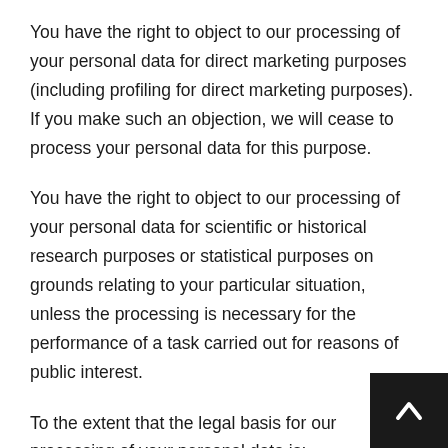You have the right to object to our processing of your personal data for direct marketing purposes (including profiling for direct marketing purposes). If you make such an objection, we will cease to process your personal data for this purpose.
You have the right to object to our processing of your personal data for scientific or historical research purposes or statistical purposes on grounds relating to your particular situation, unless the processing is necessary for the performance of a task carried out for reasons of public interest.
To the extent that the legal basis for our processing of your personal data is:
a)   consent; or